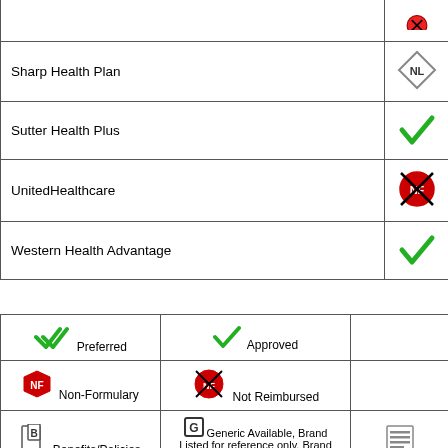| Plan Name | Status |
| --- | --- |
| Sharp Health Plan | NL (Not Listed) |
| Sutter Health Plus | Preferred (checkmark) |
| UnitedHealthcare | NF (Not Reimbursed) |
| Western Health Advantage | Preferred (checkmark) |
| Icon | Label | Icon | Label | Icon | Label |
| --- | --- | --- | --- | --- | --- |
| checkmark (double) | Preferred | checkmark | Approved |  |  |
| NF badge | Non-Formulary | NF crossed | Not Reimbursed |  |  |
| B document | Benefits/Policies | G icon - Generic Available, Brand Listed for reference only. Brand may not be covered. |  | list icon |  |
What is a formulary?
Why does my health plan have a formulary?
What if my doctor wants to prescribe a non-formulary medication?